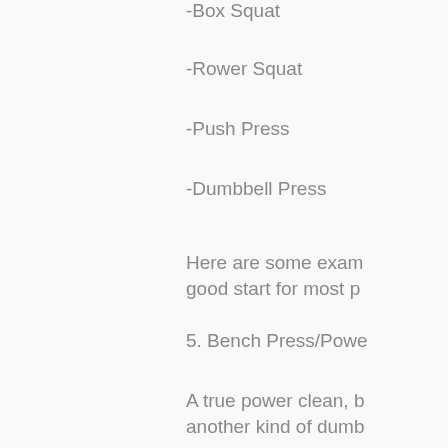-Box Squat
-Rower Squat
-Push Press
-Dumbbell Press
Here are some examples that would be a good start for most p
5. Bench Press/Pow
A true power clean, but it's basically another kind of dumb
As I mentioned earlier, if you need more work, a power clean on its
If you just want to build a good idea, somatropin 200